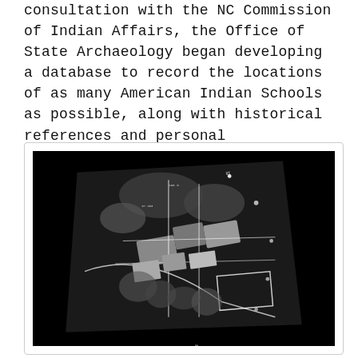consultation with the NC Commission of Indian Affairs, the Office of State Archaeology began developing a database to record the locations of as many American Indian Schools as possible, along with historical references and personal recollections of former students.
[Figure (photo): Black and white aerial photograph showing a town or settlement from above, with fields, roads in a grid pattern, and surrounding wooded areas visible. The photograph appears to be a historical aerial survey image with some annotation marks visible.]